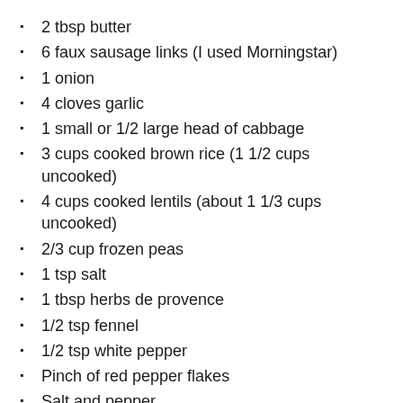2 tbsp butter
6 faux sausage links (I used Morningstar)
1 onion
4 cloves garlic
1 small or 1/2 large head of cabbage
3 cups cooked brown rice (1 1/2 cups uncooked)
4 cups cooked lentils (about 1 1/3 cups uncooked)
2/3 cup frozen peas
1 tsp salt
1 tbsp herbs de provence
1/2 tsp fennel
1/2 tsp white pepper
Pinch of red pepper flakes
Salt and pepper
3 1/2 cups canned tomatoes (or 1 large can of tomatoes)